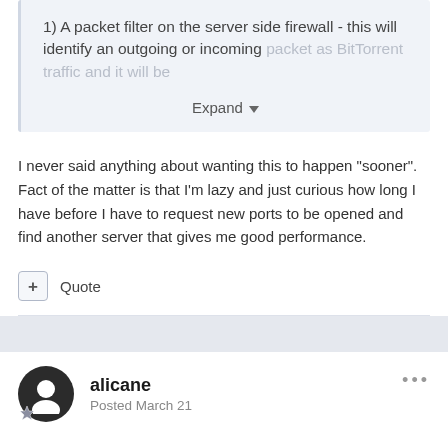1) A packet filter on the server side firewall - this will identify an outgoing or incoming packet as BitTorrent traffic and it will be
Expand
I never said anything about wanting this to happen "sooner". Fact of the matter is that I'm lazy and just curious how long I have before I have to request new ports to be opened and find another server that gives me good performance.
+ Quote
alicane
Posted March 21